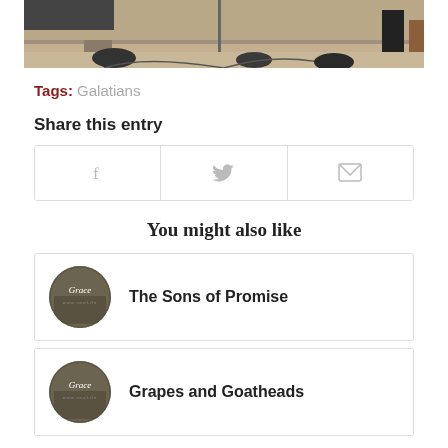[Figure (photo): Interior of a church hall with people, columns, and a wooden pulpit visible]
Tags: Galatians
Share this entry
[Figure (infographic): Three social share buttons: Facebook (f icon), Twitter (bird icon), Email (envelope icon)]
You might also like
[Figure (photo): Circular thumbnail image with Grace logo overlay, for post: The Sons of Promise]
The Sons of Promise
[Figure (photo): Circular thumbnail image with Grace logo overlay, for post: Grapes and Goatheads]
Grapes and Goatheads